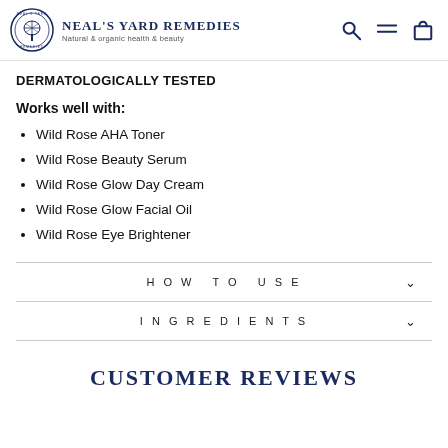NEAL'S YARD REMEDIES — Natural & organic health & beauty
DERMATOLOGICALLY TESTED
Works well with:
Wild Rose AHA Toner
Wild Rose Beauty Serum
Wild Rose Glow Day Cream
Wild Rose Glow Facial Oil
Wild Rose Eye Brightener
HOW TO USE
INGREDIENTS
CUSTOMER REVIEWS